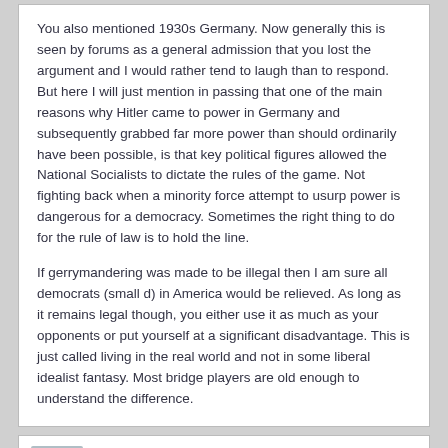You also mentioned 1930s Germany. Now generally this is seen by forums as a general admission that you lost the argument and I would rather tend to laugh than to respond. But here I will just mention in passing that one of the main reasons why Hitler came to power in Germany and subsequently grabbed far more power than should ordinarily have been possible, is that key political figures allowed the National Socialists to dictate the rules of the game. Not fighting back when a minority force attempt to usurp power is dangerous for a democracy. Sometimes the right thing to do for the rule of law is to hold the line.

If gerrymandering was made to be illegal then I am sure all democrats (small d) in America would be relieved. As long as it remains legal though, you either use it as much as your opponents or put yourself at a significant disadvantage. This is just called living in the real world and not in some liberal idealist fantasy. Most bridge players are old enough to understand the difference.
pilowsky
2020-October-17, 21:24